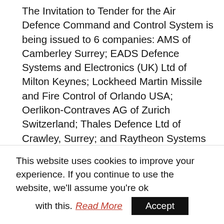The Invitation to Tender for the Air Defence Command and Control System is being issued to 6 companies: AMS of Camberley Surrey; EADS Defence Systems and Electronics (UK) Ltd of Milton Keynes; Lockheed Martin Missile and Fire Control of Orlando USA; Oerlikon-Contraves AG of Zurich Switzerland; Thales Defence Ltd of Crawley, Surrey; and Raytheon Systems Ltd of Harlow, Essex. Down selection to two contractors to undertake a two year competitive Assessment Phase is planned for December this year.
Invitations to Tender will also be issued to the makers of the Rapier and High Velocity Missile
This website uses cookies to improve your experience. If you continue to use the website, we'll assume you're ok with this. Read More Accept